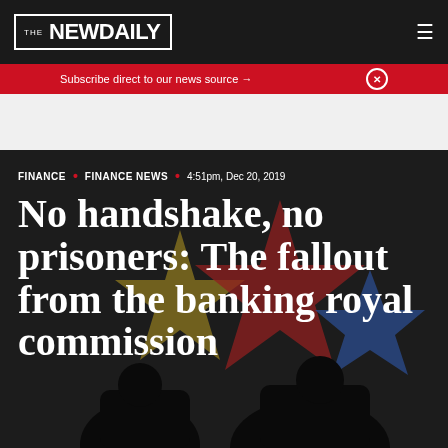THE NEWDAILY
Subscribe direct to our news source →
FINANCE • FINANCE NEWS • 4:51pm, Dec 20, 2019
No handshake, no prisoners: The fallout from the banking royal commission
[Figure (photo): Two silhouetted figures against a dark background with colourful geometric star/flower shapes (yellow, red, blue) in a dotted halftone style]